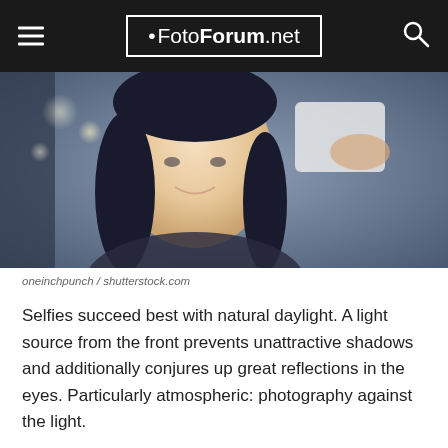• FotoForum.net
[Figure (photo): A woman smiling and taking a selfie with her phone, held up to the right. Dark hair, bokeh background.]
oneinchpunch / shutterstock.com
Selfies succeed best with natural daylight. A light source from the front prevents unattractive shadows and additionally conjures up great reflections in the eyes. Particularly atmospheric: photography against the light.
The latest gadget in Selfies are Selfie Cases, mobile phone cases with integrated light – perfect for the delicately